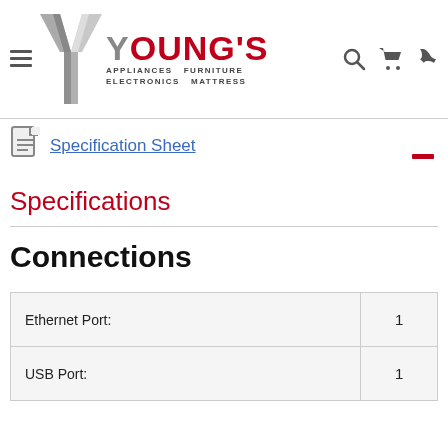[Figure (logo): Young's Appliances Furniture Electronics Mattress logo with Y graphic]
Specification Sheet
Specifications
Connections
|  |  |
| --- | --- |
| Ethernet Port: | 1 |
| USB Port: | 1 |